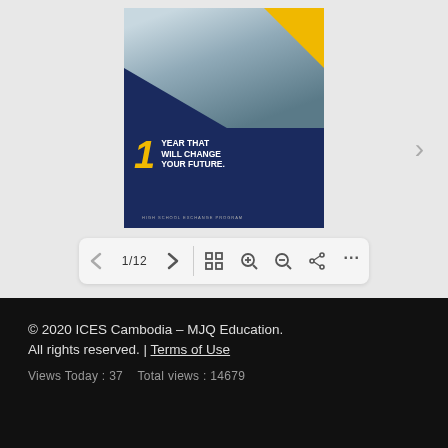[Figure (screenshot): Document viewer screenshot showing a High School Exchange Program brochure cover with students looking at papers, a dark blue background, large '1' in yellow, text 'YEAR THAT WILL CHANGE YOUR FUTURE.' and 'HIGH SCHOOL EXCHANGE PROGRAM' subtitle, with navigation toolbar showing 1/12 page count and controls.]
© 2020 ICES Cambodia – MJQ Education. All rights reserved. | Terms of Use
Views Today : 37    Total views : 14679